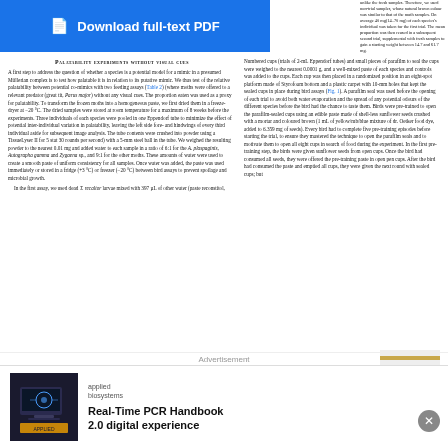[Figure (other): Blue download full-text PDF button with document icon]
[Figure (other): Dropdown chevron button with blue border]
Palatability experiments without visual cues
A first step to address the question of whether a species is a potential model for a mimic in a presumed Müllerian complex is to test how palatable it is in relation to its putative mimic. We thus test of the relative palatability between potential co-mimics with two feeding assays (Table 2) (where moths were offered to a relevant predator (great tit, Parus major) without any visual cues. The proportion eaten was used as a proxy for palatability. To transform the frozen moths into a homogeneous paste, we first dried them in a freeze-dryer at −20 °C. The dried samples were stored at room temperature for a maximum of 8 weeks before the experiments. Three individuals of each species were pooled in one Eppendorf tube to minimize the effect of potential inter-individual variation in palatability, leaving the left side fore- and hindwings of every third individual aside for subsequent image analysis. The tube contents were crushed into powder using a TissueLyser II for 5 stat 30 rounds per second) with a 5-mm steel ball in the tube. We weighed the resulting powder to the nearest 0.01 mg and added water to each sample in a ratio of 6:1 for the A. plaspaginis, Autographa gamma and Zygaena sp., and 9:1 for the other moths. These amounts of water were used to create a smooth paste of uniform consistency for all samples. Once water was added, the paste was used immediately or stored in a fridge (+3 °C) or freezer (−20 °C) between bird assays to prevent spoilage and microbial growth.
In the first assay, we used dead T. recaltor larvae mixed with 397 µL of other water (paste reconstitol, unlike the fresh samples. Therefore, we used non-trial samples, whose natural brown colour was similar to that of the moth samples. On average 40 mg (14–70 mg) of each species's individual was taken forth the first trial. The mean portion proportion was then reused in a subsequent second trial, supplemental with fresh samples to gain a starting weight between 14.7 and 61.7 mg. Numbered cups (trials of 2-mL Eppendorf tubes) and small pieces of parafilm to seal the cups were weighed to the nearest 0.0001 g, and a well-mixed paste of each species and controls was added to the cups. Each cup was then placed in a randomized position in an eight-spot platform made of Styrofoam bottom and a plastic carpet with 10-mm holes that kept the sealed cups in place during bird assays (Fig. 1). A parafilm seal was used before the opening of each trial to avoid both water evaporation and the spread of any potential odours of the different species before the bird had the chance to taste them. Birds were pre-trained to open the parafilm-sealed cups using an edible paste made of shell-less sunflower seeds crushed with a mortar and coloured brown (1 mL of yellow/rub/blue mixture of dr. Oetker food dye, added to 6.359 mg of seeds). Every bird had to complete five pre-training episodes before starting the trial, to ensure they mastered the technique to open the parafilm seals and to motivate them to open all eight cups in search of food during the experiment. In the first pre-training step, the birds were given sunflower seeds from open cups. Once the bird had consumed all seeds, they were offered the pre-training paste in open pen cups. After the bird had consumed the paste and emptied all cups, they were given the next round with sealed cups; but
[Figure (infographic): Advertisement banner showing 'Advertisement' text with decorative image]
[Figure (photo): Applied Biosystems advertisement showing laptop with DNA imagery and Real-Time PCR Handbook 2.0 digital experience text]